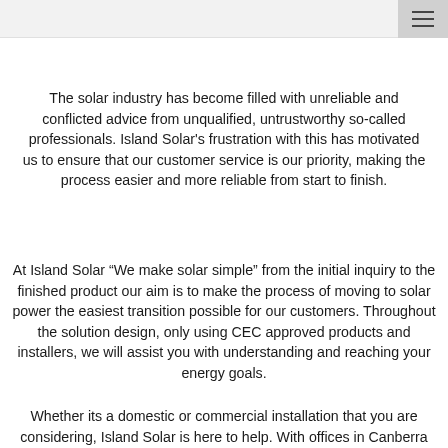The solar industry has become filled with unreliable and conflicted advice from unqualified, untrustworthy so-called professionals. Island Solar's frustration with this has motivated us to ensure that our customer service is our priority, making the process easier and more reliable from start to finish.
At Island Solar “We make solar simple” from the initial inquiry to the finished product our aim is to make the process of moving to solar power the easiest transition possible for our customers. Throughout the solution design, only using CEC approved products and installers, we will assist you with understanding and reaching your energy goals.
Whether its a domestic or commercial installation that you are considering, Island Solar is here to help. With offices in Canberra and Brisbane supporting the ACT and Sunshine